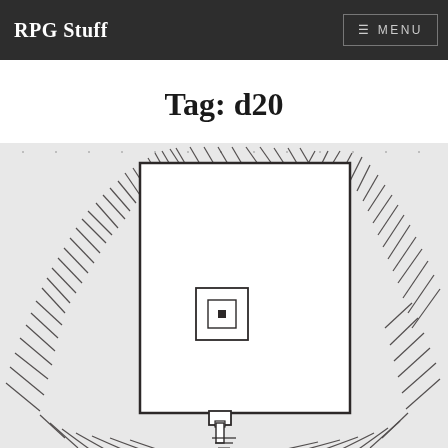RPG Stuff  ≡ MENU
Tag: d20
[Figure (illustration): Hand-drawn top-down RPG dungeon room map showing a square room with hatched stone/dungeon walls surrounding it, a small altar or pedestal centered in the room, and a doorway or passage at the bottom leading to a figure or entrance symbol. The background is a light gray dotted grid paper texture.]